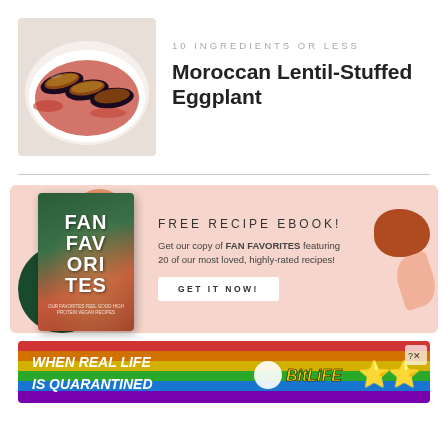[Figure (photo): Photo of Moroccan Lentil-Stuffed Eggplant in a baking dish, viewed from above, showing dark eggplant halves stuffed with lentils and topped with herbs, in a white dish]
10 INGREDIENTS OR LESS
Moroccan Lentil-Stuffed Eggplant
[Figure (infographic): Free Recipe Ebook promotional banner with pink/salmon background, showing a cookbook cover titled FAN FAVORITES on the left, and text: FREE RECIPE EBOOK! Get our copy of FAN FAVORITES featuring 20 of our most loved, highly-rated recipes! with a GET IT NOW! button]
[Figure (photo): Advertisement banner with rainbow gradient background showing text: WHEN REAL LIFE IS QUARANTINED with BitLife game logo and emoji characters]